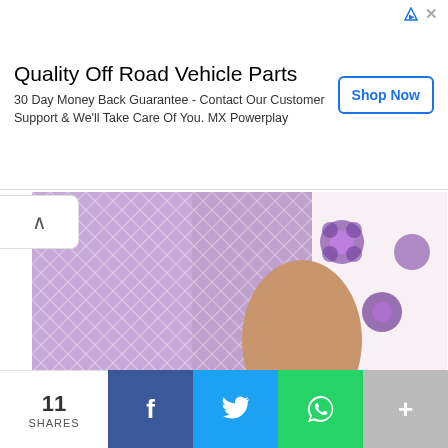Quality Off Road Vehicle Parts
30 Day Money Back Guarantee - Contact Our Customer Support & We'll Take Care Of You. MX Powerplay
[Figure (photo): Close-up photo of a person wearing a purple/lavender floral patterned dupatta/scarf with white crosshatch pattern, against a white floral background fabric.]
Source: bharatpedia
9. Lala Wanh
Hailing from Bhatinda, Wanh got married at the tender age of 14. In the course of events that followed, she remarried for a total of 17 times in 6
11 SHARES